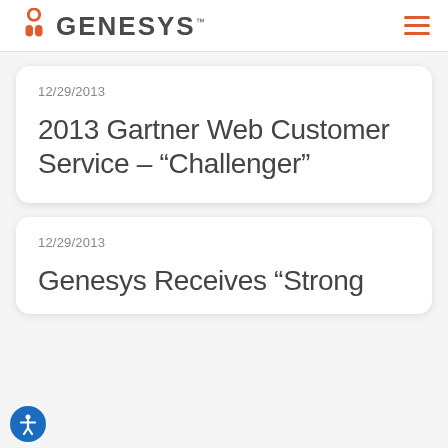GENESYS
12/29/2013
2013 Gartner Web Customer Service – “Challenger”
12/29/2013
Genesys Receives “Strong